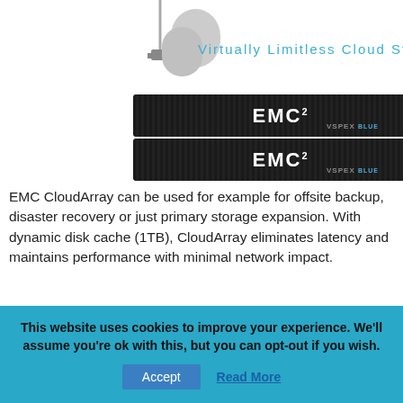[Figure (illustration): EMC VSPEX hardware devices (two 1U rack units) with cloud storage graphic and 'Virtually Limitless Cloud Storage' label in teal above]
EMC CloudArray can be used for example for offsite backup, disaster recovery or just primary storage expansion. With dynamic disk cache (1TB), CloudArray eliminates latency and maintains performance with minimal network impact.
EMC VSPEX BLUE management software and EMC Secure Remote Service
This website uses cookies to improve your experience. We'll assume you're ok with this, but you can opt-out if you wish.